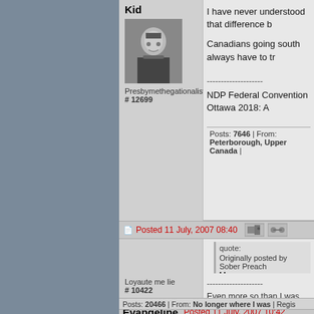Kid
[Figure (photo): Black and white portrait photo of a man in clerical collar]
Presbymethegationalist
# 12699
I have never understood that difference b...
Canadians going south always have to tr...
--------------------
NDP Federal Convention Ottawa 2018: A...
Posts: 7646 | From: Peterborough, Upper Canada |
Uncle Pete
Posted 11 July, 2007 08:40
[Figure (photo): Color portrait photo of a person in red beret]
Loyaute me lie
# 10422
quote:
Originally posted by Sober Preach...
I have never understood that di... measurements.

Canadians going south always h...
That's why I'm going to make sure I bring... on the ones I took last time! :) ) I went n...
--------------------
Even more so than I was before
Posts: 20466 | From: No longer where I was | Regis...
Evangeline
Posted 11 July, 2007 10:42